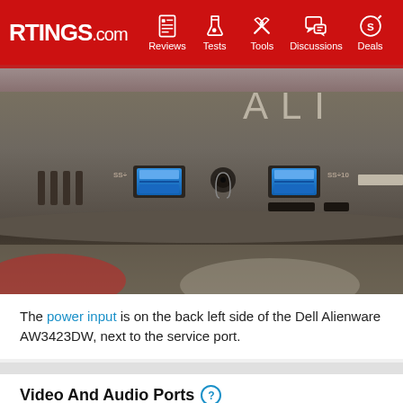RTINGS.com | Reviews | Tests | Tools | Discussions | Deals
[Figure (photo): Close-up photo of the bottom bezel/chin of the Dell Alienware AW3423DW monitor showing USB-A ports (blue), a headphone jack, and card reader slots on a dark gunmetal surface. The Alienware logo letters 'ALI' are partially visible in the upper right.]
The power input is on the back left side of the Dell Alienware AW3423DW, next to the service port.
Video And Audio Ports ?